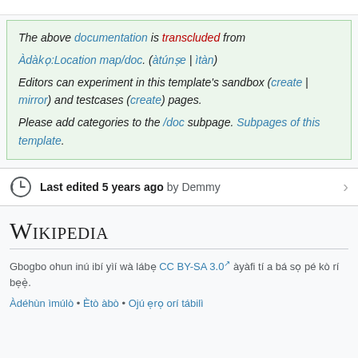The above documentation is transcluded from Àdàkọ:Location map/doc. (àtúnṣe | ìtàn) Editors can experiment in this template's sandbox (create | mirror) and testcases (create) pages. Please add categories to the /doc subpage. Subpages of this template.
Last edited 5 years ago by Demmy
Wikipedia
Gbogbo ohun inú ibí yìí wà lábẹ CC BY-SA 3.0 àyàfi tí a bá sọ pé kò rí bẹẹ̀.
Àdéhùn ìmúlò • Ètò àbò • Ojú ẹrọ orí tábilì